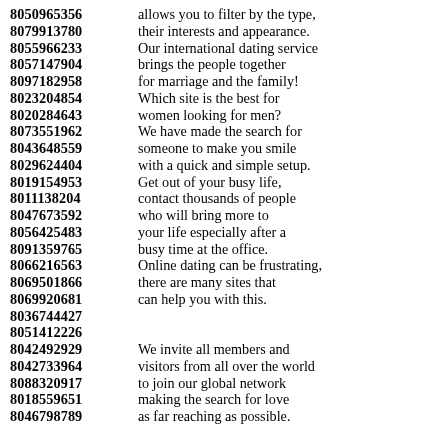8050965356 allows you to filter by the type,
8079913780 their interests and appearance.
8055966233 Our international dating service
8057147904 brings the people together
8097182958 for marriage and the family!
8023204854 Which site is the best for
8020284643 women looking for men?
8073551962 We have made the search for
8043648559 someone to make you smile
8029624404 with a quick and simple setup.
8019154953 Get out of your busy life,
8011138204 contact thousands of people
8047673592 who will bring more to
8056425483 your life especially after a
8091359765 busy time at the office.
8066216563 Online dating can be frustrating,
8069501866 there are many sites that
8069920681 can help you with this.
8036744427
8051412226
8042492929 We invite all members and
8042733964 visitors from all over the world
8088320917 to join our global network
8018559651 making the search for love
8046798789 as far reaching as possible.